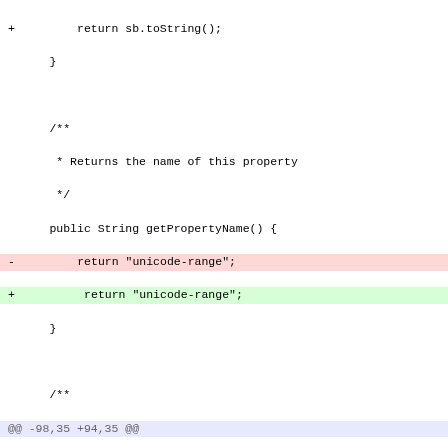Code diff showing Java source changes for CSS unicode-range property handler